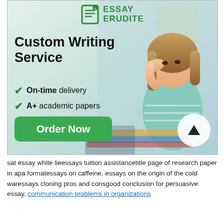[Figure (illustration): Essay Erudite advertisement banner showing a stressed female student studying, with logo, Custom Writing Service heading, checklist of On-time delivery, A+ academic papers, Professional writers, and an Order Now green button]
sat essay white lieessays tuition assistancetitle page of research paper in apa formatessays on caffeine, essays on the origin of the cold waressays cloning pros and consgood conclusion for persuasive essay. communication problems in organizations